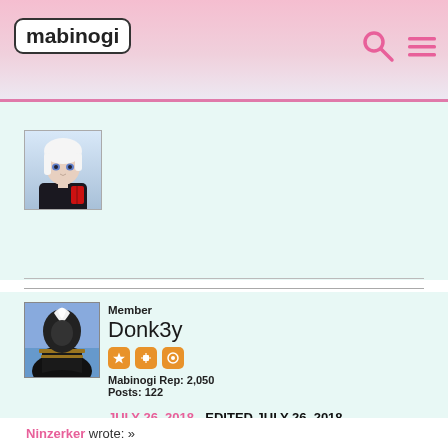mabinogi
[Figure (photo): Anime-style avatar of a white-haired female character in a dark outfit, holding a red book]
Member
Donk3y
Mabinogi Rep: 2,050
Posts: 122
JULY 26, 2018   EDITED JULY 26, 2018
Ninzerker wrote: »
Spoiler   show